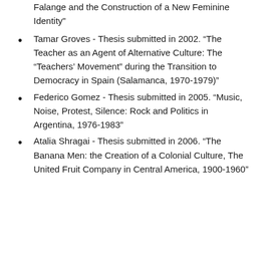Falange and the Construction of a New Feminine Identity"
Tamar Groves - Thesis submitted in 2002. "The Teacher as an Agent of Alternative Culture: The “Teachers’ Movement” during the Transition to Democracy in Spain (Salamanca, 1970-1979)"
Federico Gomez - Thesis submitted in 2005. "Music, Noise, Protest, Silence: Rock and Politics in Argentina, 1976-1983"
Atalia Shragai - Thesis submitted in 2006. "The Banana Men: the Creation of a Colonial Culture, The United Fruit Company in Central America, 1900-1960"